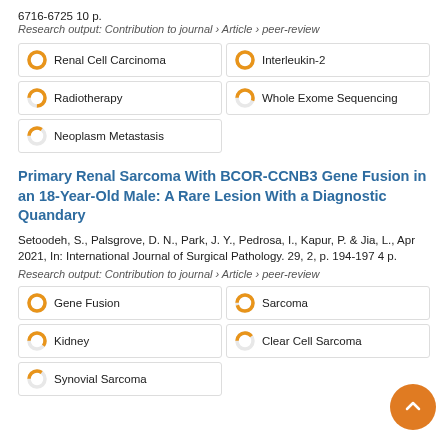6716-6725 10 p.
Research output: Contribution to journal › Article › peer-review
[Figure (infographic): Keyword badges with donut/pie icons showing relevance percentages: Renal Cell Carcinoma (100%), Interleukin-2 (100%), Radiotherapy (~75%), Whole Exome Sequencing (~55%), Neoplasm Metastasis (~35%)]
Primary Renal Sarcoma With BCOR-CCNB3 Gene Fusion in an 18-Year-Old Male: A Rare Lesion With a Diagnostic Quandary
Setoodeh, S., Palsgrove, D. N., Park, J. Y., Pedrosa, I., Kapur, P. & Jia, L., Apr 2021, In: International Journal of Surgical Pathology. 29, 2, p. 194-197 4 p.
Research output: Contribution to journal › Article › peer-review
[Figure (infographic): Keyword badges with donut/pie icons showing relevance percentages: Gene Fusion (100%), Sarcoma (~95%), Kidney (~60%), Clear Cell Sarcoma (~40%), Synovial Sarcoma (~35%)]